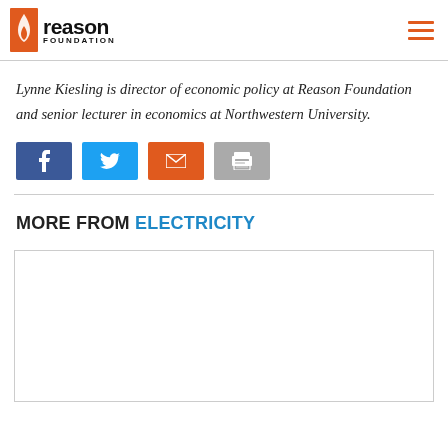Reason Foundation
Lynne Kiesling is director of economic policy at Reason Foundation and senior lecturer in economics at Northwestern University.
[Figure (other): Social sharing buttons: Facebook (blue), Twitter (light blue), Email (orange), Print (gray)]
MORE FROM ELECTRICITY
[Figure (other): Empty article card placeholder with gray border]